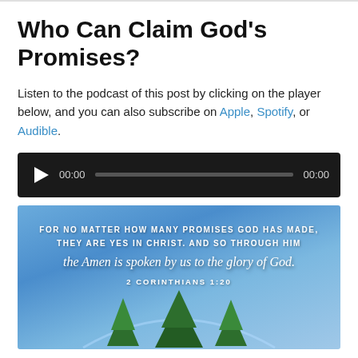Who Can Claim God's Promises?
Listen to the podcast of this post by clicking on the player below, and you can also subscribe on Apple, Spotify, or Audible.
[Figure (screenshot): Audio player with play button, progress bar, and timestamps showing 00:00 on both sides]
[Figure (photo): Blue sky background image with Bible verse text overlay: FOR NO MATTER HOW MANY PROMISES GOD HAS MADE, THEY ARE YES IN CHRIST. AND SO THROUGH HIM the Amen is spoken by us to the glory of God. 2 CORINTHIANS 1:20, with a tree and rainbow visible at bottom]